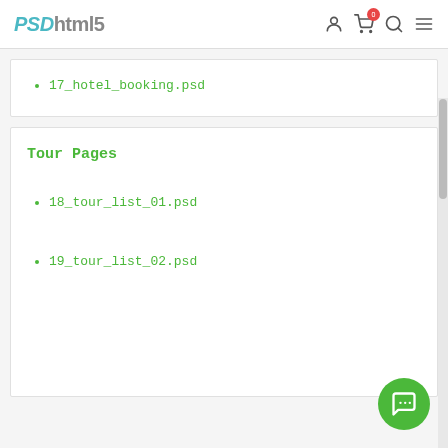PSDhtml5 — navigation bar with user, cart (0), search, and menu icons
17_hotel_booking.psd
Tour Pages
18_tour_list_01.psd
19_tour_list_02.psd